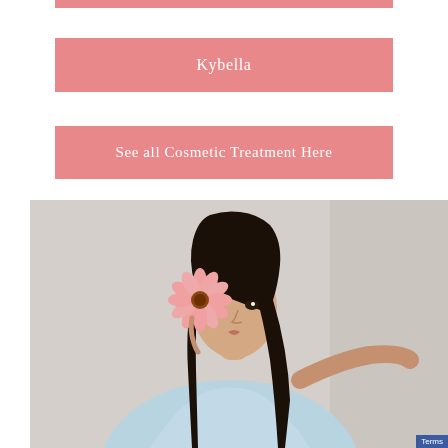[Figure (illustration): Pink horizontal banner/button strip at top, partially cropped]
Kybella
See all Cosmetic Treatment Here
[Figure (photo): Asian woman in light blue dress holding a pink gerbera daisy flower over her eye, standing against a light gray background]